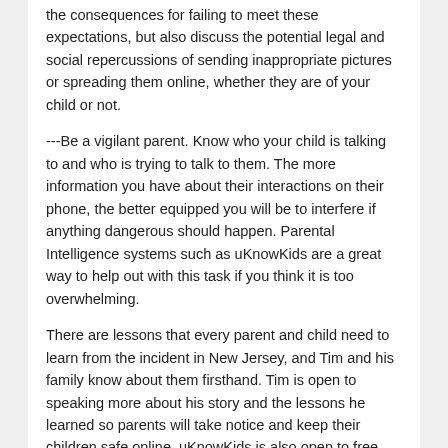the consequences for failing to meet these expectations, but also discuss the potential legal and social repercussions of sending inappropriate pictures or spreading them online, whether they are of your child or not.
---Be a vigilant parent. Know who your child is talking to and who is trying to talk to them. The more information you have about their interactions on their phone, the better equipped you will be to interfere if anything dangerous should happen. Parental Intelligence systems such as uKnowKids are a great way to help out with this task if you think it is too overwhelming.
There are lessons that every parent and child need to learn from the incident in New Jersey, and Tim and his family know about them firsthand. Tim is open to speaking more about his story and the lessons he learned so parents will take notice and keep their children safe online. uKnowKids is also open to free product distribution in schools and areas that have been affected by sexting. If you are interested in speaking with Tim or want more information about sexting tips, uKnowKids or product distribution, email Callie at charris(at)uknow.com.
About uKnow.com
Headquartered in Arlington, VA, uKnow.com makes parenting